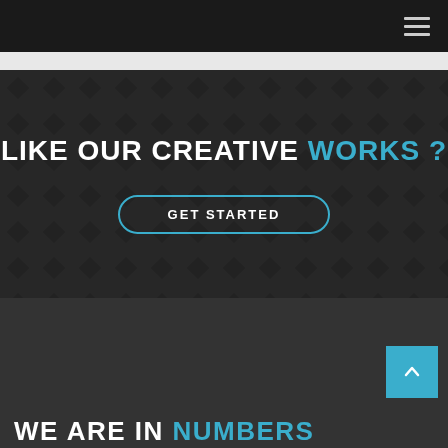Navigation bar with hamburger menu
LIKE OUR CREATIVE WORKS ?
GET STARTED
WE ARE IN NUMBERS